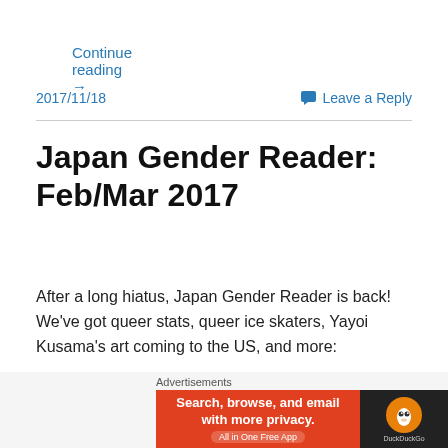Continue reading →
2017/11/18
Leave a Reply
Japan Gender Reader: Feb/Mar 2017
After a long hiatus, Japan Gender Reader is back! We've got queer stats, queer ice skaters, Yayoi Kusama's art coming to the US, and more:
[Figure (photo): Dark photo of lanterns floating in night sky]
Advertisements
[Figure (other): DuckDuckGo advertisement banner: Search, browse, and email with more privacy. All in One Free App]